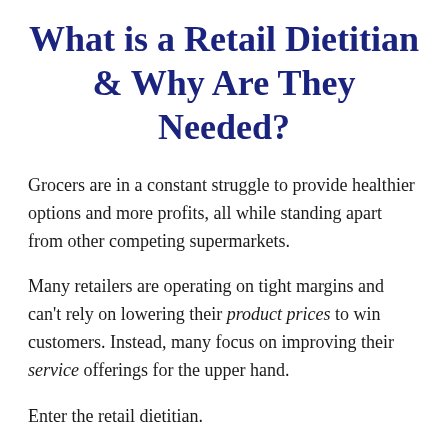What is a Retail Dietitian & Why Are They Needed?
Grocers are in a constant struggle to provide healthier options and more profits, all while standing apart from other competing supermarkets.
Many retailers are operating on tight margins and can't rely on lowering their product prices to win customers. Instead, many focus on improving their service offerings for the upper hand.
Enter the retail dietitian.